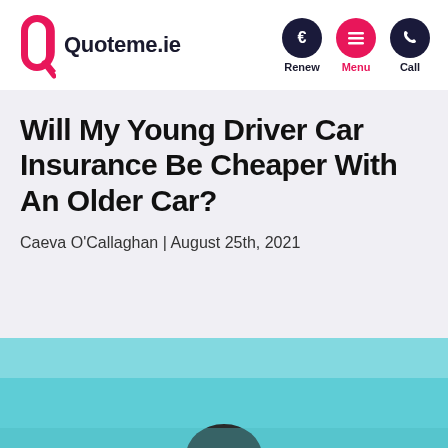Quoteme.ie | Renew | Menu | Call
Will My Young Driver Car Insurance Be Cheaper With An Older Car?
Caeva O'Callaghan | August 25th, 2021
[Figure (photo): Hero image showing the top of a person's head in a car against a teal/turquoise background]